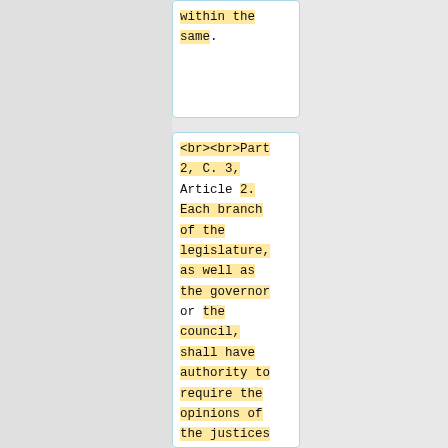within the same.
<br><br>Part 2, C. 3, Article 2. Each branch of the legislature, as well as the governor or the council, shall have authority to require the opinions of the justices of the supreme judicial court, upon
Article 15. In all controversies concerning property, and in all suits between two or more persons, except in cases in which it has heretofore been otherways used and practiced, the parties